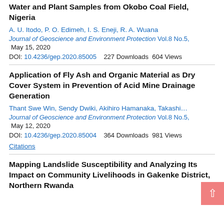Water and Plant Samples from Okobo Coal Field, Nigeria
A. U. Itodo, P. O. Edimeh, I. S. Eneji, R. A. Wuana
Journal of Geoscience and Environment Protection Vol.8 No.5, May 15, 2020
DOI: 10.4236/gep.2020.85005   227 Downloads  604 Views
Application of Fly Ash and Organic Material as Dry Cover System in Prevention of Acid Mine Drainage Generation
Thant Swe Win, Sendy Dwiki, Akihiro Hamanaka, Takashi...
Journal of Geoscience and Environment Protection Vol.8 No.5, May 12, 2020
DOI: 10.4236/gep.2020.85004   364 Downloads  981 Views
Citations
Mapping Landslide Susceptibility and Analyzing Its Impact on Community Livelihoods in Gakenke District, Northern Rwanda